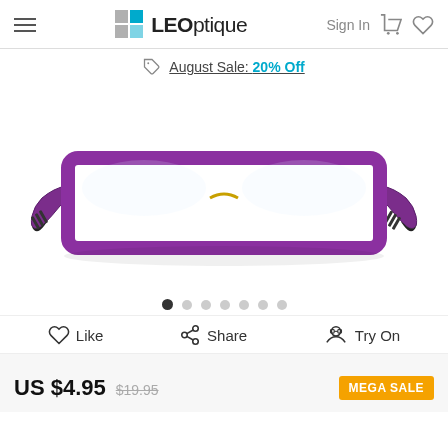LEOptique — Sign In
August Sale: 20% Off
[Figure (photo): Purple rectangular eyeglasses frame with black temple tips, product photo on white background]
Like  Share  Try On
US $4.95  $19.95  MEGA SALE